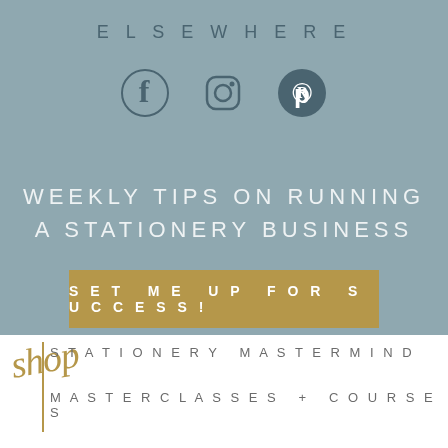ELSEWHERE
[Figure (infographic): Three social media icons: Facebook (f), Instagram (camera), Pinterest (p in circle), displayed in a row on a muted teal background]
WEEKLY TIPS ON RUNNING A STATIONERY BUSINESS
SET ME UP FOR SUCCESS!
STATIONERY MASTERMIND
MASTERCLASSES + COURSES